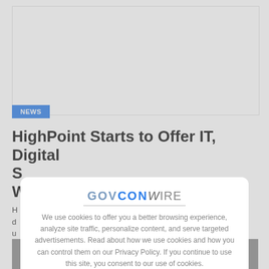[Figure (other): White card image area at top of article page]
NEWS
HighPoint Starts to Offer IT, Digital S... W...
H... d... u...
[Figure (photo): Partial photo of a person at the bottom of the page]
[Figure (screenshot): Cookie consent modal overlay with GovConWire logo. Text: We use cookies to offer you a better browsing experience, analyze site traffic, personalize content, and serve targeted advertisements. Read about how we use cookies and how you can control them on our Privacy Policy. If you continue to use this site, you consent to our use of cookies. Close button: X]